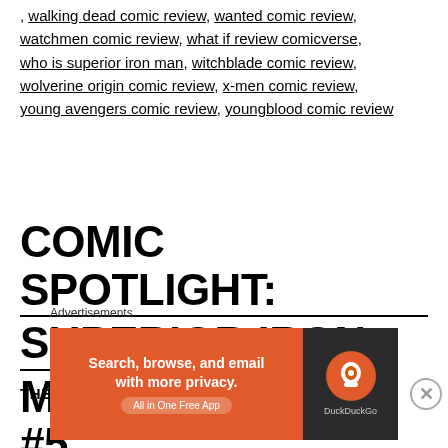, walking dead comic review, wanted comic review, watchmen comic review, what if review comicverse, who is superior iron man, witchblade comic review, wolverine origin comic review, x-men comic review, young avengers comic review, youngblood comic review
COMIC SPOTLIGHT: SUPERIOR IRON MAN(2014-2015) #5
THE SECRET ORIGIN OF THE ABOMINATION...
Advertisements
[Figure (other): DuckDuckGo advertisement banner: orange background with text 'Search, browse, and email with more privacy. All in One Free App' and DuckDuckGo logo on dark background]